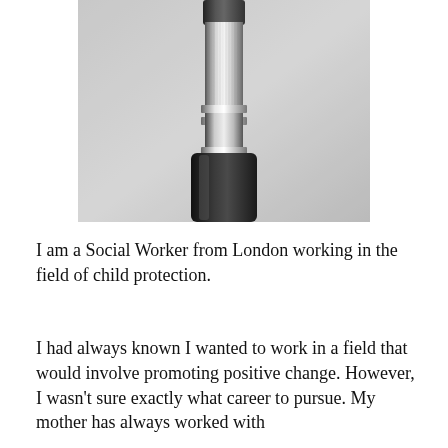[Figure (photo): Black and white close-up photograph of a metallic knurled tool handle with a black cylindrical end, placed on a textured surface.]
I am a Social Worker from London working in the field of child protection.
I had always known I wanted to work in a field that would involve promoting positive change. However, I wasn't sure exactly what career to pursue. My mother has always worked with